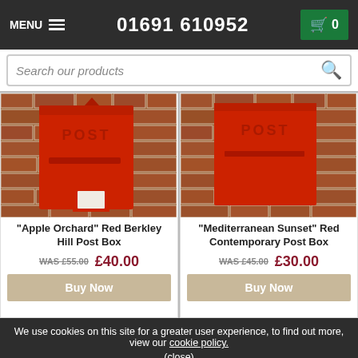MENU  01691 610952  0
Search our products
[Figure (photo): Red 'POST' wall-mounted post box on brick wall - Apple Orchard Red Berkley Hill Post Box]
"Apple Orchard" Red Berkley Hill Post Box
WAS £55.00 £40.00
Buy Now
[Figure (photo): Red 'POST' wall-mounted contemporary post box on brick wall - Mediterranean Sunset Red Contemporary Post Box]
"Mediterranean Sunset" Red Contemporary Post Box
WAS £45.00 £30.00
Buy Now
We use cookies on this site for a greater user experience, to find out more, view our cookie policy.
(close)